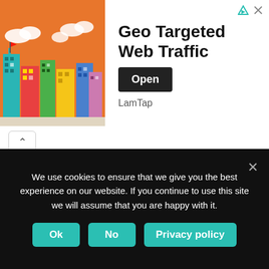[Figure (screenshot): Advertisement banner for 'Geo Targeted Web Traffic' by LamTap with an Open button and city illustration]
PS4
REVIEWS
ROBOTS
SEARCH ENGINES
SEO
SMART APPLIANCES
We use cookies to ensure that we give you the best experience on our website. If you continue to use this site we will assume that you are happy with it.